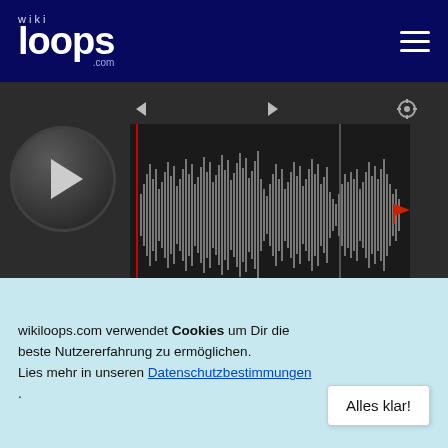wikiloops.com
[Figure (screenshot): Audio player with waveform display showing playback controls, waveform visualization, time display 00:00, 105 BPM, 03:53 duration, and PUB badge]
World Sessions mit Gitarre, Percussion & Tasten:
Filter Ändern
Alle abspielen
Preparando
wikiloops.com verwendet Cookies um Dir die beste Nutzererfahrung zu ermöglichen. Lies mehr in unseren Datenschutzbestimmungen .
Alles klar!